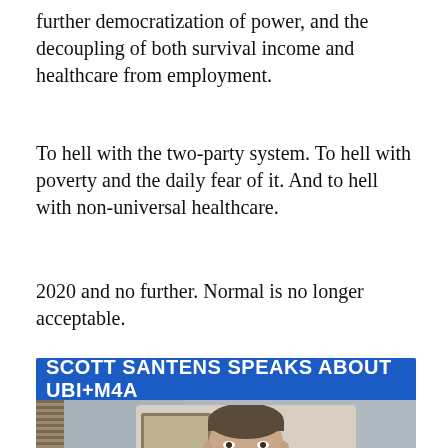further democratization of power, and the decoupling of both survival income and healthcare from employment.
To hell with the two-party system. To hell with poverty and the daily fear of it. And to hell with non-universal healthcare.
2020 and no further. Normal is no longer acceptable.
[Figure (screenshot): Video thumbnail showing a man in a suit speaking, with a blue banner overlay reading 'SCOTT SANTENS SPEAKS ABOUT UBI+M4A' and a black Subscribe button with envelope icon on the right side.]